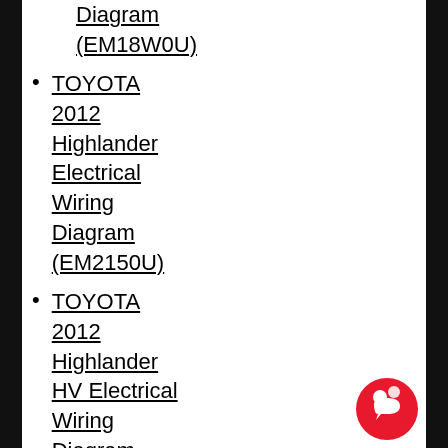Diagram (EM18W0U)
TOYOTA 2012 Highlander Electrical Wiring Diagram (EM2150U)
TOYOTA 2012 Highlander HV Electrical Wiring Diagram (EM2160U)
TOYOTA